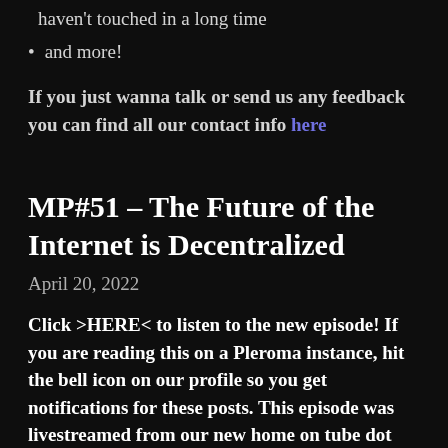haven't touched in a long time
and more!
If you just wanna talk or send us any feedback you can find all our contact info here
MP#51 – The Future of the Internet is Decentralized
April 20, 2022
Click >HERE< to listen to the new episode! If you are reading this on a Pleroma instance, hit the bell icon on our profile so you get notifications for these posts. This episode was livestreamed from our new home on tube dot seriousposter dot club